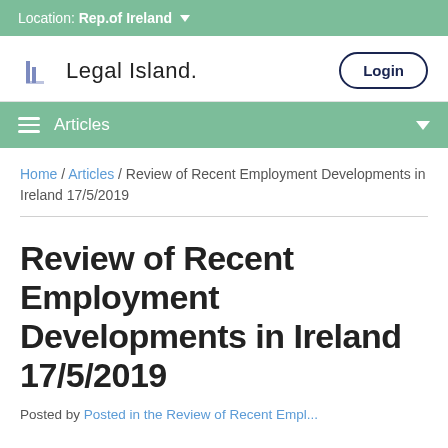Location: Rep.of Ireland
[Figure (logo): Legal Island logo with stylized L icon and wordmark]
Articles
Home / Articles / Review of Recent Employment Developments in Ireland 17/5/2019
Review of Recent Employment Developments in Ireland 17/5/2019
Posted by...